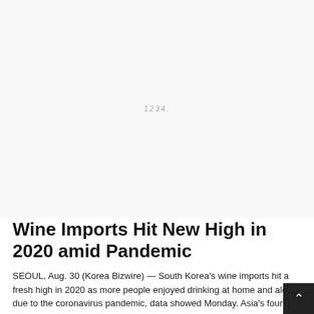[Figure (photo): Large image placeholder occupying the top portion of the page, with faint italic text in the center]
Wine Imports Hit New High in 2020 amid Pandemic
SEOUL, Aug. 30 (Korea Bizwire) — South Korea's wine imports hit a fresh high in 2020 as more people enjoyed drinking at home and alone due to the coronavirus pandemic, data showed Monday. Asia's fourth-largest economy imported US$330 million worth of wine last year, up 27.3